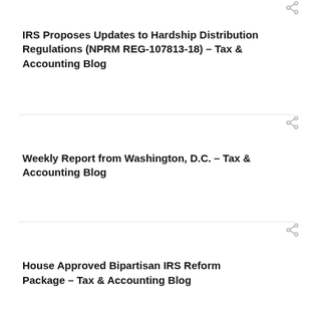IRS Proposes Updates to Hardship Distribution Regulations (NPRM REG-107813-18) – Tax & Accounting Blog
Weekly Report from Washington, D.C. – Tax & Accounting Blog
House Approved Bipartisan IRS Reform Package – Tax & Accounting Blog